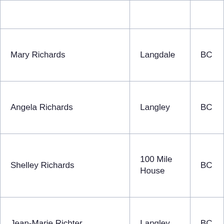|  |  |  |
| Mary Richards | Langdale | BC |
| Angela Richards | Langley | BC |
| Shelley Richards | 100 Mile House | BC |
| Jean-Marie Richter | Langley | BC |
| Darlinda Lee Ritchey | Vancouver | BC |
| Virve Rivera | Vancouver | BC |